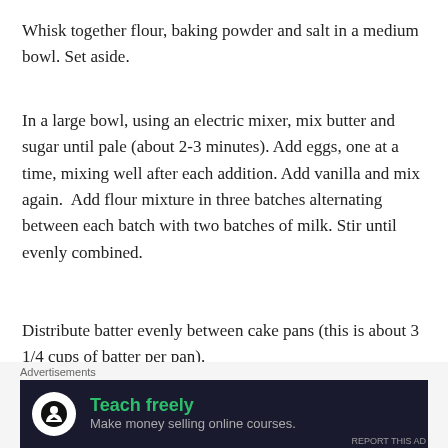Whisk together flour, baking powder and salt in a medium bowl. Set aside.
In a large bowl, using an electric mixer, mix butter and sugar until pale (about 2-3 minutes). Add eggs, one at a time, mixing well after each addition. Add vanilla and mix again.  Add flour mixture in three batches alternating between each batch with two batches of milk. Stir until evenly combined.
Distribute batter evenly between cake pans (this is about 3 1/4 cups of batter per pan).
Bake for 30-35 minutes or until cake tester inserted in
[Figure (infographic): Advertisement banner with dark background showing 'Teach freely / Make money selling online courses.' with a white circular icon featuring a person/graduate symbol in black.]